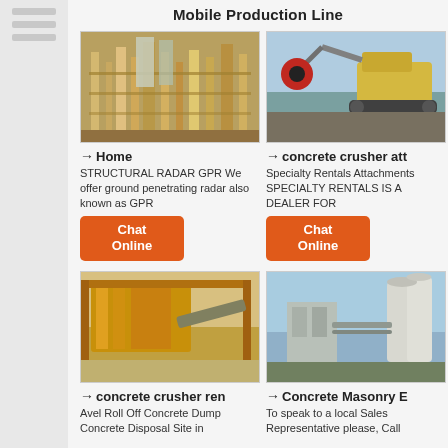Mobile Production Line
[Figure (photo): Industrial mining/processing plant with scaffolding and equipment]
→ Home
STRUCTURAL RADAR GPR We offer ground penetrating radar also known as GPR
[Figure (photo): Concrete crusher attachment with excavator machinery]
→ concrete crusher att
Specialty Rentals Attachments SPECIALTY RENTALS IS A DEALER FOR
[Figure (photo): Large yellow industrial crusher or conveyor structure at a quarry site]
→ concrete crusher ren
Avel Roll Off Concrete Dump Concrete Disposal Site in
[Figure (photo): Concrete masonry or cement plant with silos and industrial structures]
→ Concrete Masonry E
To speak to a local Sales Representative please, Call